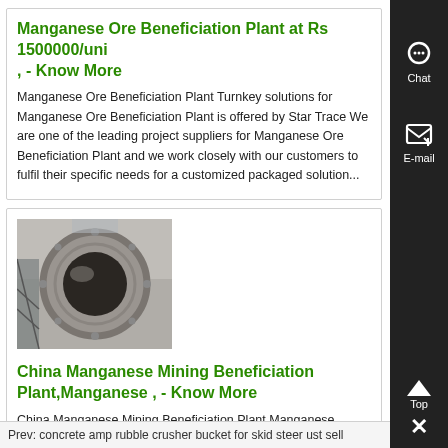Manganese Ore Beneficiation Plant at Rs 1500000/uni , - Know More
Manganese Ore Beneficiation Plant Turnkey solutions for Manganese Ore Beneficiation Plant is offered by Star Trace We are one of the leading project suppliers for Manganese Ore Beneficiation Plant and we work closely with our customers to fulfil their specific needs for a customized packaged solution...
[Figure (photo): Close-up photo of a cylindrical industrial mining or beneficiation equipment component, showing a circular drum or separator with metal fittings and machinery around it.]
China Manganese Mining Beneficiation Plant,Manganese , - Know More
China Manganese Mining Beneficiation Plant,Manganese Mining Process Line Find Complete Details about China Manganese Mining Beneficiation Plant,Manganese Mining Process Line,Manganese Mining,Manganese Mining Beneficiation Plant,Manganese Mining Process from Mineral Separator Suppli...
Prev: concrete amp rubble crusher bucket for skid steer ust sell